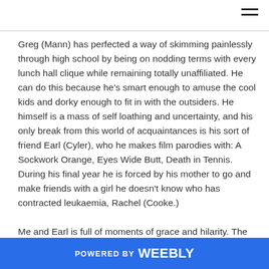Greg (Mann) has perfected a way of skimming painlessly through high school by being on nodding terms with every lunch hall clique while remaining totally unaffiliated. He can do this because he's smart enough to amuse the cool kids and dorky enough to fit in with the outsiders. He himself is a mass of self loathing and uncertainty, and his only break from this world of acquaintances is his sort of friend Earl (Cyler), who he makes film parodies with: A Sockwork Orange, Eyes Wide Butt, Death in Tennis. During his final year he is forced by his mother to go and make friends with a girl he doesn't know who has contracted leukaemia, Rachel (Cooke.)
Me and Earl is full of moments of grace and hilarity. The
POWERED BY weebly